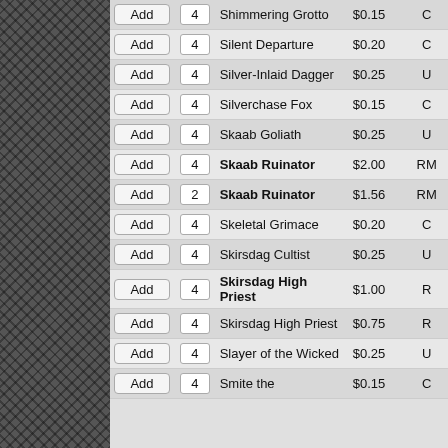| Add | Qty | Name | Price | Rarity |
| --- | --- | --- | --- | --- |
| Add | 4 | Shimmering Grotto | $0.15 | C |
| Add | 4 | Silent Departure | $0.20 | C |
| Add | 4 | Silver-Inlaid Dagger | $0.25 | U |
| Add | 4 | Silverchase Fox | $0.15 | C |
| Add | 4 | Skaab Goliath | $0.25 | U |
| Add | 4 | Skaab Ruinator | $2.00 | RM |
| Add | 2 | Skaab Ruinator | $1.56 | RM |
| Add | 4 | Skeletal Grimace | $0.20 | C |
| Add | 4 | Skirsdag Cultist | $0.25 | U |
| Add | 4 | Skirsdag High Priest | $1.00 | R |
| Add | 4 | Skirsdag High Priest | $0.75 | R |
| Add | 4 | Slayer of the Wicked | $0.25 | U |
| Add | 4 | Smite the | $0.15 | C |